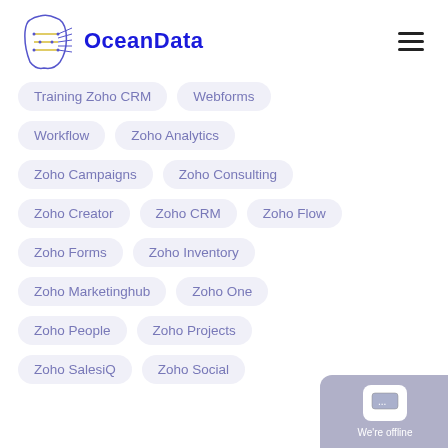[Figure (logo): OceanData logo with circuit-board face illustration and blue bold text 'OceanData']
Training Zoho CRM
Webforms
Workflow
Zoho Analytics
Zoho Campaigns
Zoho Consulting
Zoho Creator
Zoho CRM
Zoho Flow
Zoho Forms
Zoho Inventory
Zoho Marketinghub
Zoho One
Zoho People
Zoho Projects
Zoho SalesiQ
Zoho Social